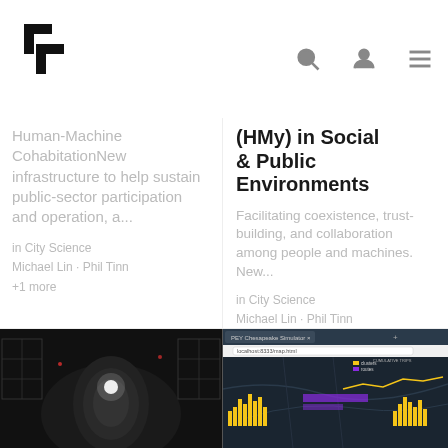MIT Media Lab logo, search icon, user icon, menu icon
Human-Machine CohabitationNew infrastructure to help sustain public-sector participation and operation, a...
in City Science
Michael Lin · Phil Tinn
+1 more
(HMy) in Social & Public Environments
Facilitating coexistence, trust-building, and collaboration among people and machines. New...
in City Science
Michael Lin · Phil Tinn
+5 more
[Figure (photo): Dark interior photo of a dome or capsule structure with lights]
[Figure (screenshot): Screenshot of a web browser showing a map/data visualization with yellow bar charts and purple highlights]